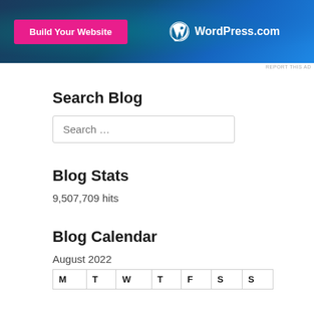[Figure (illustration): WordPress.com advertisement banner with dark blue gradient background. A pink 'Build Your Website' button on the left and WordPress.com logo on the right.]
REPORT THIS AD
Search Blog
Search …
Blog Stats
9,507,709 hits
Blog Calendar
August 2022
| M | T | W | T | F | S | S |
| --- | --- | --- | --- | --- | --- | --- |